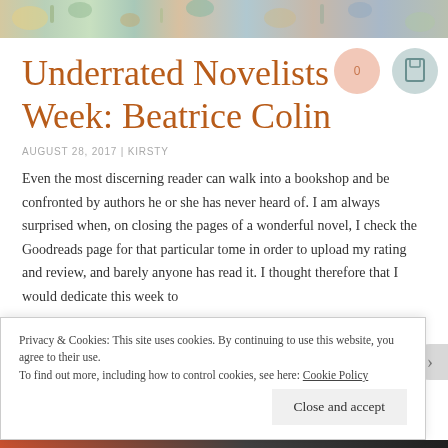Underrated Novelists Week: Beatrice Colin
AUGUST 28, 2017 | KIRSTY
Even the most discerning reader can walk into a bookshop and be confronted by authors he or she has never heard of. I am always surprised when, on closing the pages of a wonderful novel, I check the Goodreads page for that particular tome in order to upload my rating and review, and barely anyone has read it. I thought therefore that I would dedicate this week to
Privacy & Cookies: This site uses cookies. By continuing to use this website, you agree to their use.
To find out more, including how to control cookies, see here: Cookie Policy
Close and accept